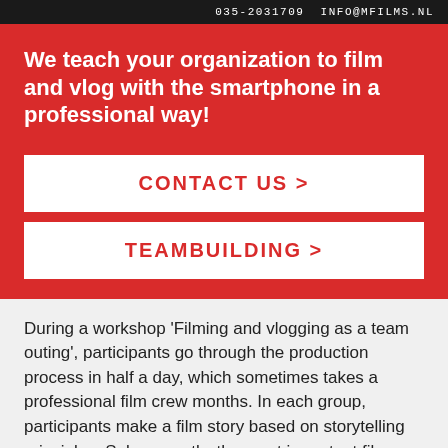035-2031709  INFO@MFILMS.NL
We teach your organization to film and vlog with the smartphone in a professional way!
CONTACT US >
TEAMBUILDING >
During a workshop 'Filming and vlogging as a team outing', participants go through the production process in half a day, which sometimes takes a professional film crew months. In each group, participants make a film story based on storytelling principles. Subsequently, the most important film techniques, film frames and camera